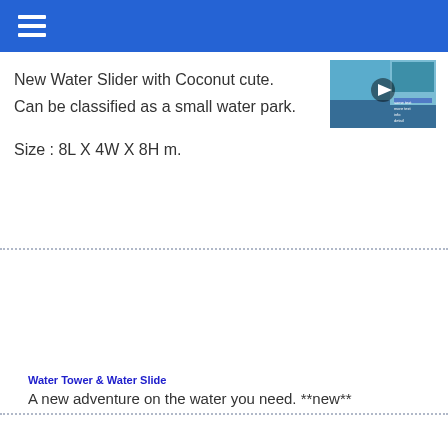[Figure (screenshot): Video thumbnail showing a water slide/water park with a play button overlay and text overlay information]
New Water Slider with Coconut cute.
Can be classified as a small water park.

Size : 8L X 4W X 8H m.
Water Tower & Water Slide
A new adventure on the water you need. **new**